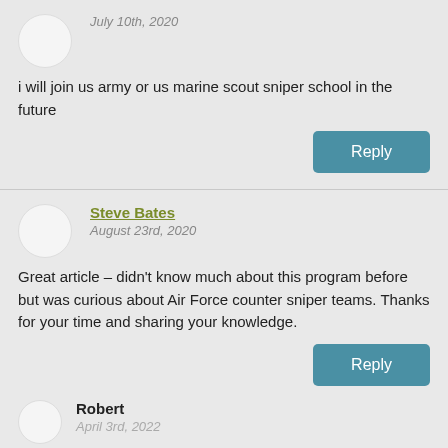July 10th, 2020
i will join us army or us marine scout sniper school in the future
Reply
Steve Bates
August 23rd, 2020
Great article – didn't know much about this program before but was curious about Air Force counter sniper teams. Thanks for your time and sharing your knowledge.
Reply
Robert
April 3rd, 2022